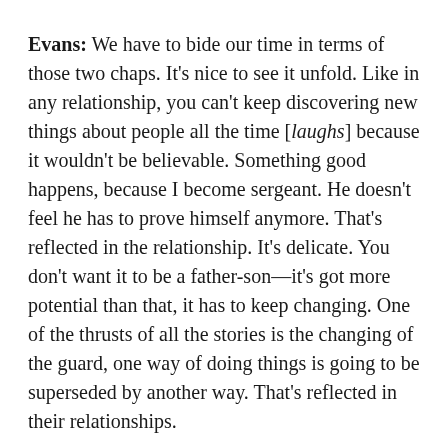Evans: We have to bide our time in terms of those two chaps. It's nice to see it unfold. Like in any relationship, you can't keep discovering new things about people all the time [laughs] because it wouldn't be believable. Something good happens, because I become sergeant. He doesn't feel he has to prove himself anymore. That's reflected in the relationship. It's delicate. You don't want it to be a father-son—it's got more potential than that, it has to keep changing. One of the thrusts of all the stories is the changing of the guard, one way of doing things is going to be superseded by another way. That's reflected in their relationships.